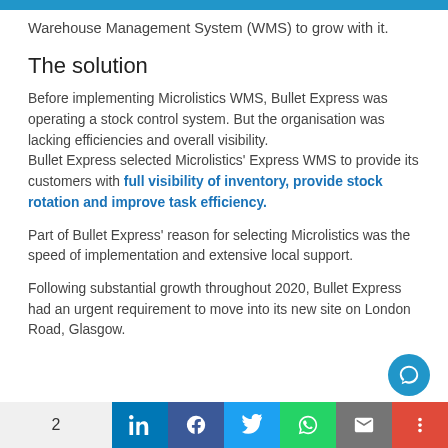Warehouse Management System (WMS) to grow with it.
The solution
Before implementing Microlistics WMS, Bullet Express was operating a stock control system. But the organisation was lacking efficiencies and overall visibility.
Bullet Express selected Microlistics' Express WMS to provide its customers with full visibility of inventory, provide stock rotation and improve task efficiency.
Part of Bullet Express' reason for selecting Microlistics was the speed of implementation and extensive local support.
Following substantial growth throughout 2020, Bullet Express had an urgent requirement to move into its new site on London Road, Glasgow.
2